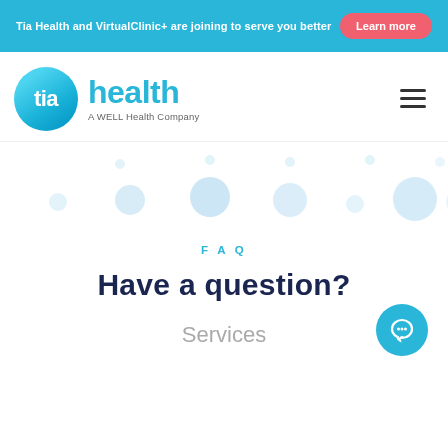Tia Health and VirtualClinic+ are joining to serve you better  Learn more
[Figure (logo): Tia Health logo — blue circle with 'tia' text, followed by 'health' in blue, subtitle 'A WELL Health Company']
[Figure (illustration): Decorative circles/dots pattern in light blue shades across two rows]
FAQ
Have a question?
Services